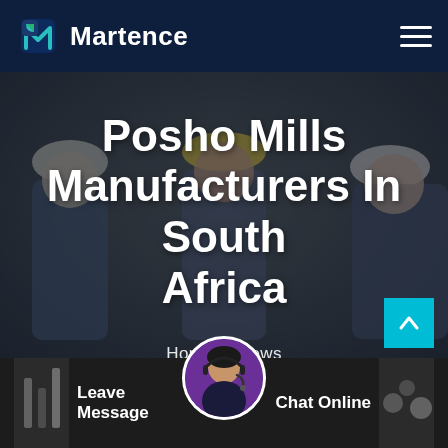Martence
Posho Mills Manufacturers In South Africa
Home / News
Leave Message
Chat Online